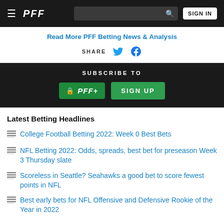PFF — SIGN IN
Read More PFF Betting News & Analysis
SHARE
SUBSCRIBE TO
SIGN UP
Latest Betting Headlines
College Football Betting 2022: Week 0 Best Bets
NFL Betting 2022: Odds, spreads, best bet for preseason Week 3 Thursday slate
Scoreless in Seattle? Seahawks a good bet to score fewest points in NFL
Best early bets for NFL Offensive and Defensive Rookie of the Year in 2022